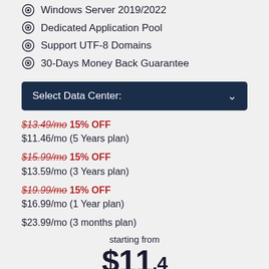Windows Server 2019/2022
Dedicated Application Pool
Support UTF-8 Domains
30-Days Money Back Guarantee
Select Data Center:
$13.49/mo 15% OFF
$11.46/mo (5 Years plan)
$15.99/mo 15% OFF
$13.59/mo (3 Years plan)
$19.99/mo 15% OFF
$16.99/mo (1 Year plan)
$23.99/mo (3 months plan)
starting from
$11.46